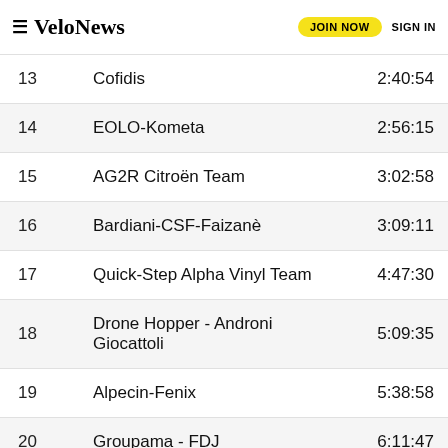VeloNews — JOIN NOW SIGN IN
| # | Team | Time |
| --- | --- | --- |
| 13 | Cofidis | 2:40:54 |
| 14 | EOLO-Kometa | 2:56:15 |
| 15 | AG2R Citroën Team | 3:02:58 |
| 16 | Bardiani-CSF-Faizanè | 3:09:11 |
| 17 | Quick-Step Alpha Vinyl Team | 4:47:30 |
| 18 | Drone Hopper - Androni Giocattoli | 5:09:35 |
| 19 | Alpecin-Fenix | 5:38:58 |
| 20 | Groupama - FDJ | 6:11:47 |
| 21 | [ad] | 42:38 |
[Figure (photo): Advertisement banner: America's Top Pro Cycling Race, Maryland, Sept 4 2022]